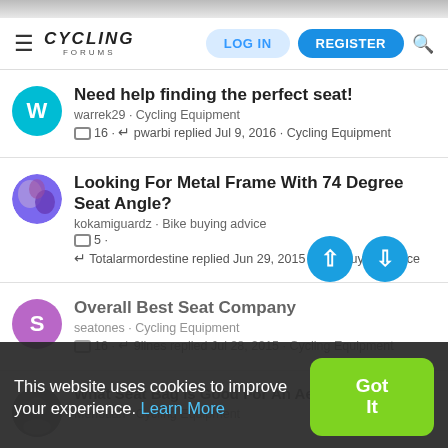CYCLING FORUMS — LOG IN | REGISTER
Need help finding the perfect seat! — warrek29 · Cycling Equipment — 16 · pwarbi replied Jul 9, 2016 · Cycling Equipment
Looking For Metal Frame With 74 Degree Seat Angle? — kokamiguardz · Bike buying advice — 5 · Totalarmordestine replied Jun 29, 2015 · Bike buying advice
Overall Best Seat Company — seatones · Cycling Equipment — 16 · 9lines replied Jul 28, 2015 · Cycling Equipment
What Seat Bag Is Good For An Aero Style Bike? — Menotian · Cycling Equipment
This website uses cookies to improve your experience. Learn More — Got It